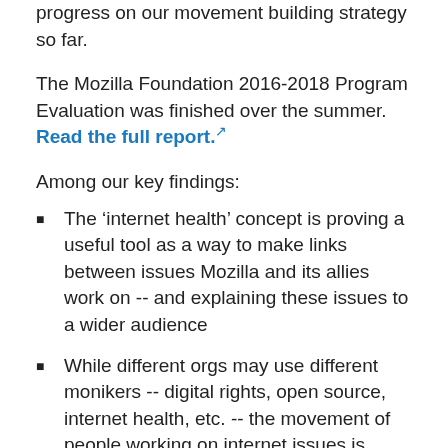progress on our movement building strategy so far.
The Mozilla Foundation 2016-2018 Program Evaluation was finished over the summer. Read the full report.
Among our key findings:
The ‘internet health’ concept is proving a useful tool as a way to make links between issues Mozilla and its allies work on -- and explaining these issues to a wider audience
While different orgs may use different monikers -- digital rights, open source, internet health, etc. -- the movement of people working on internet issues is growing
Mozilla has transformed significantly. The thought leadership, fellowship and campaign capacities developed in recent years are valued by partners and allies
Collectively, Mozilla and its allies are well positioned to